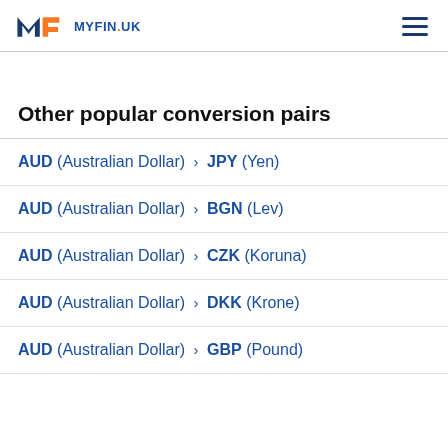MYFIN.UK
Other popular conversion pairs
AUD (Australian Dollar) > JPY (Yen)
AUD (Australian Dollar) > BGN (Lev)
AUD (Australian Dollar) > CZK (Koruna)
AUD (Australian Dollar) > DKK (Krone)
AUD (Australian Dollar) > GBP (Pound)